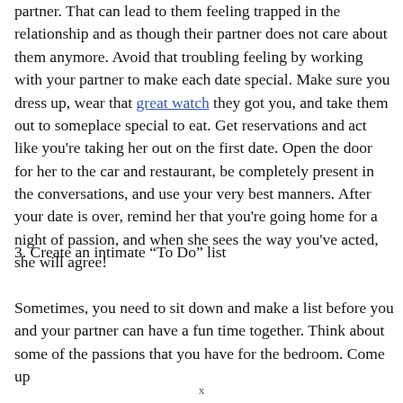partner. That can lead to them feeling trapped in the relationship and as though their partner does not care about them anymore. Avoid that troubling feeling by working with your partner to make each date special. Make sure you dress up, wear that great watch they got you, and take them out to someplace special to eat. Get reservations and act like you're taking her out on the first date. Open the door for her to the car and restaurant, be completely present in the conversations, and use your very best manners. After your date is over, remind her that you're going home for a night of passion, and when she sees the way you've acted, she will agree!
3. Create an intimate “To Do” list
Sometimes, you need to sit down and make a list before you and your partner can have a fun time together. Think about some of the passions that you have for the bedroom. Come up